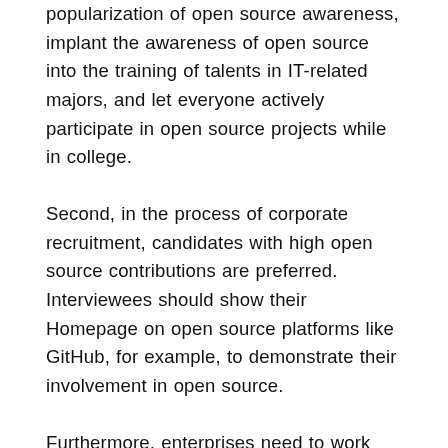popularization of open source awareness, implant the awareness of open source into the training of talents in IT-related majors, and let everyone actively participate in open source projects while in college.
Second, in the process of corporate recruitment, candidates with high open source contributions are preferred. Interviewees should show their Homepage on open source platforms like GitHub, for example, to demonstrate their involvement in open source.
Furthermore, enterprises need to work hard to build an open source ecosystem. Just as Baidu, Huawei and some start-up companies will open source their